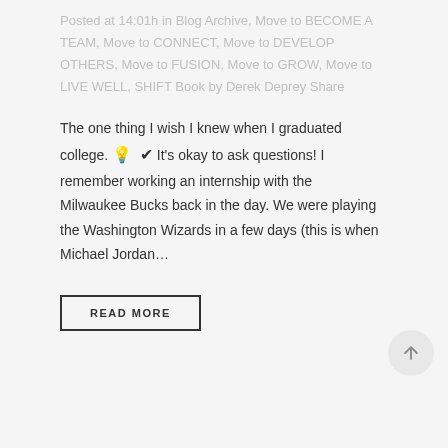Posted at 14:01h in Blog Archive, Move to BECOME A TEAM, Move to CONNECT, Move to DEVELOP OTHERS, Move to FUSION, Move to GROW, Move to LIVE WELL, SHIFT Book by Derek Deprey Share
The one thing I wish I knew when I graduated college. 💡 ✔ It's okay to ask questions! I remember working an internship with the Milwaukee Bucks back in the day. We were playing the Washington Wizards in a few days (this is when Michael Jordan...
READ MORE